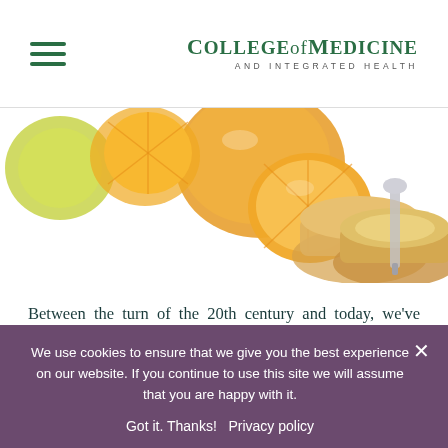College of Medicine and Integrated Health
[Figure (photo): Close-up photo of food items including sliced oranges/citrus, bread slices, and what appears to be a kitchen scale or similar utensil, on a white background.]
Between the turn of the 20th century and today, we've switched our dietary fats from 80 per cent animal and 20 per cent plants, to the other way around. If you look at where those dietary fats come from, it's palm oil, soya oil—which is genetically modified and causing a huge amount of soil erosion in South America—and crops like almonds, which everybody thinks are very good, but if you go to
We use cookies to ensure that we give you the best experience on our website. If you continue to use this site we will assume that you are happy with it.
Got it. Thanks!   Privacy policy